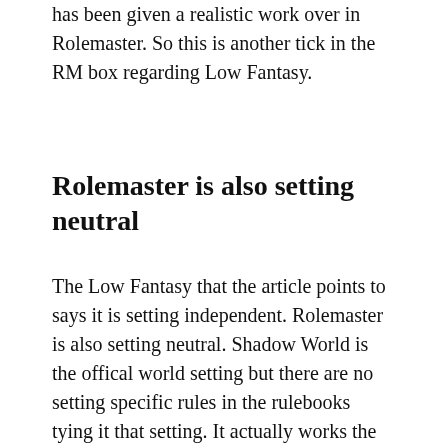has been given a realistic work over in Rolemaster. So this is another tick in the RM box regarding Low Fantasy.
Rolemaster is also setting neutral
The Low Fantasy that the article points to says it is setting independent. Rolemaster is also setting neutral. Shadow World is the offical world setting but there are no setting specific rules in the rulebooks tying it that setting. It actually works the other way around with the Shadow World books referring to Rolemaster materials not the Rolemaster books referring to Shadow World.